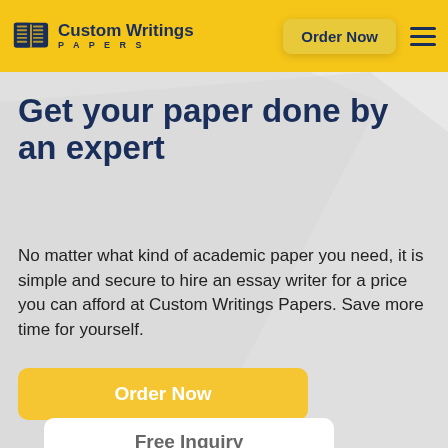Custom Writings PAPERS — Order Now
Get your paper done by an expert
No matter what kind of academic paper you need, it is simple and secure to hire an essay writer for a price you can afford at Custom Writings Papers. Save more time for yourself.
Order Now
Free Inquiry